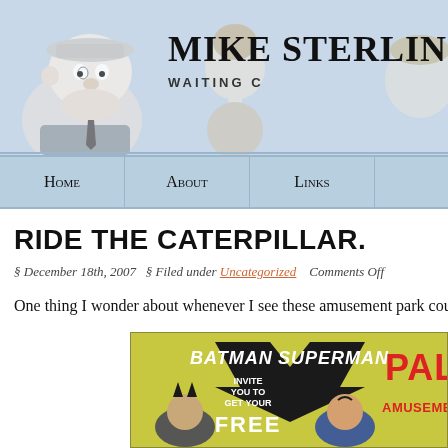Mike Sterling's — WAITING C...
Home  About  Links
RIDE THE CATERPILLAR.
§ December 18th, 2007  § Filed under Uncategorized  Comments Off
One thing I wonder about whenever I see these amusement park coup...
[Figure (photo): Batman and Superman invite you to get your free pass to Palisades Amusement Park — vintage comic book advertisement]